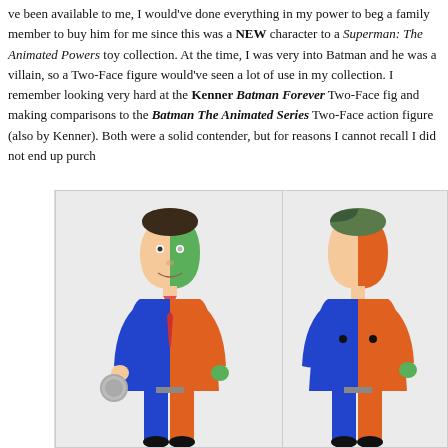ve been available to me, I would've done everything in my power to beg a family member to buy him for me since this was a NEW character to a Superman: The Animated Powers toy collection. At the time, I was very into Batman and he was a villain, so a Two-Face figure would've seen a lot of use in my collection. I remember looking very hard at the Kenner Batman Forever Two-Face fig and making comparisons to the Batman The Animated Series Two-Face action figure (also by Kenner). Both were a solid contender, but for reasons I cannot recall I did not end up purchasing either one.
[Figure (photo): Two photos of a Batman The Animated Series Two-Face action figure by Kenner, showing front and back views. The figure wears a half-blue, half-orange pinstripe suit with a split green/normal face. It holds a coin in the left hand.]